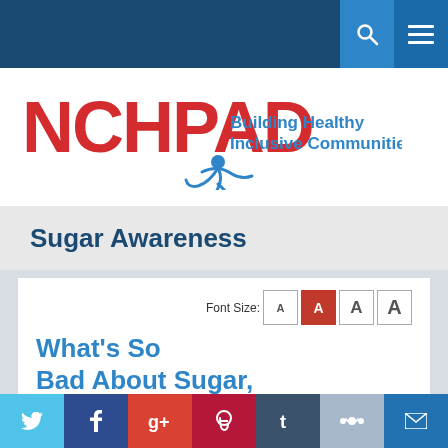[Figure (logo): NCHPAD logo with figure and text 'Building Healthy Inclusive Communities']
Sugar Awareness
What's So Bad About Sugar, Anyways?
By:  Rebecca Cline
[Figure (screenshot): Social media share buttons: Twitter, Facebook, Google+, Pinterest, Tumblr, Reddit, Email]